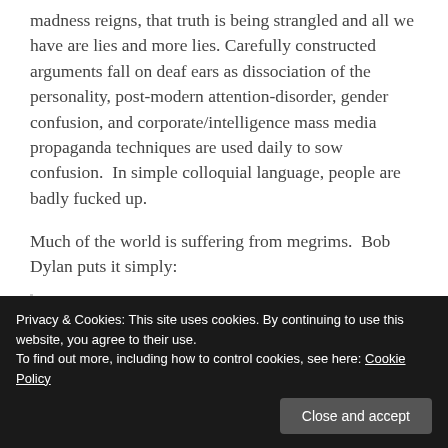madness reigns, that truth is being strangled and all we have are lies and more lies. Carefully constructed arguments fall on deaf ears as dissociation of the personality, post-modern attention-disorder, gender confusion, and corporate/intelligence mass media propaganda techniques are used daily to sow confusion.  In simple colloquial language, people are badly fucked up.
Much of the world is suffering from megrims.  Bob Dylan puts it simply:
Broken lines, broken strings
Broken threads, broken springs
Everything is broken.
Privacy & Cookies: This site uses cookies. By continuing to use this website, you agree to their use. To find out more, including how to control cookies, see here: Cookie Policy